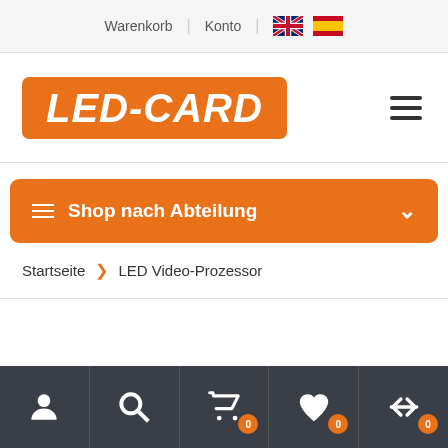Warenkorb | Konto | [UK flag] | [ES flag]
[Figure (logo): LED-CARD logo in orange rounded rectangle with white bold italic text]
≡ Shop nach Abteilung
Startseite > LED Video-Prozessor
[User icon] [Search icon] [Cart icon 0] [Heart icon 0] [Compare icon 0]